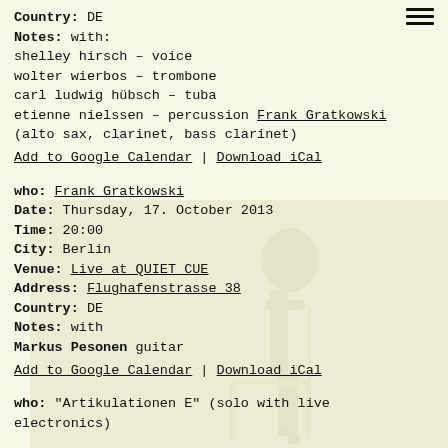Country: DE
Notes: with:
shelley hirsch – voice
wolter wierbos – trombone
carl ludwig hübsch – tuba
etienne nielssen – percussion Frank Gratkowski (alto sax, clarinet, bass clarinet)
Add to Google Calendar | Download iCal
who: Frank Gratkowski
Date: Thursday, 17. October 2013
Time: 20:00
City: Berlin
Venue: Live at QUIET CUE
Address: Flughafenstrasse 38
Country: DE
Notes: with
Markus Pesonen guitar
Add to Google Calendar | Download iCal
who: "Artikulationen E" (solo with live electronics)
[Figure (illustration): Semi-transparent background silhouette of a musician playing an instrument, shown in muted olive/yellow tones]